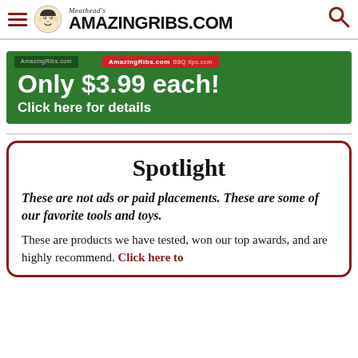Meathead's AmazingRibs.com
[Figure (infographic): Green advertisement banner: 'Only $3.99 each! Click here for details' with AmazingRibs.com branded cards shown at top]
Spotlight
These are not ads or paid placements. These are some of our favorite tools and toys.
These are products we have tested, won our top awards, and are highly recommend. Click here to